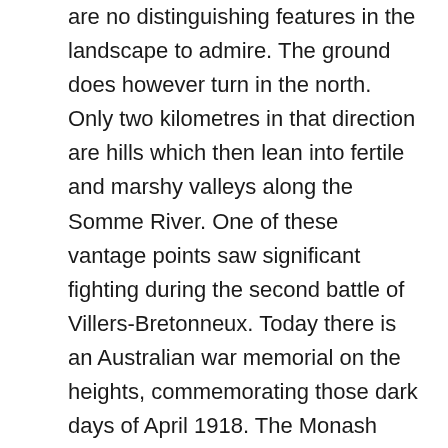are no distinguishing features in the landscape to admire. The ground does however turn in the north. Only two kilometres in that direction are hills which then lean into fertile and marshy valleys along the Somme River. One of these vantage points saw significant fighting during the second battle of Villers-Bretonneux. Today there is an Australian war memorial on the heights, commemorating those dark days of April 1918. The Monash war museum is there and now open to the public and there is a Commonwealth cemetery on the grounds, which includes the graves of those from the 35th who died during those assaults. Back in the town, we drove through the centre which only takes a couple of minutes, for Villers-Bretonneux is a small French commune. We went over a small bridge on the town's outskirts that cuts across the train tracks. Today there are buildings on one side, a manufacturer of Asphalt, but